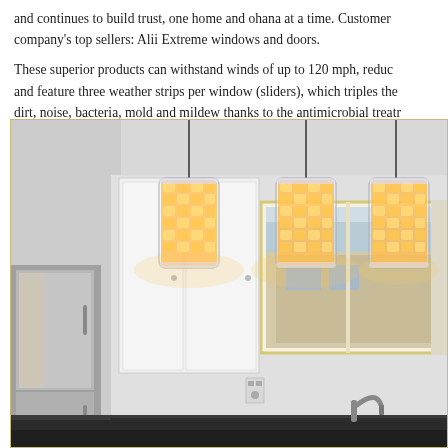and continues to build trust, one home and ohana at a time. Customers love the company's top sellers: Alii Extreme windows and doors.
These superior products can withstand winds of up to 120 mph, reduce noise and feature three weather strips per window (sliders), which triples the seal against dirt, noise, bacteria, mold and mildew thanks to the antimicrobial treatment.
[Figure (photo): Interior kitchen photo showing three decorative pendant lights with crystal/jewel-encrusted cylindrical shades hanging from the ceiling, white kitchen cabinets, a sliding window showing a neighboring building outside, stainless steel refrigerator on the left, dark granite countertop at the bottom, and a faucet visible at lower right.]